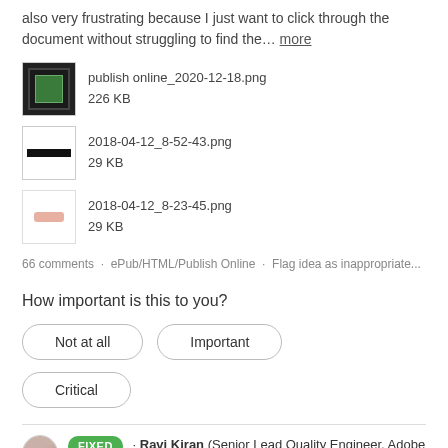also very frustrating because I just want to click through the document without struggling to find the... more
[Figure (screenshot): Thumbnail of publish online_2020-12-18.png, 226 KB]
[Figure (screenshot): Thumbnail of 2018-04-12_8-52-43.png, 29 KB]
[Figure (screenshot): Thumbnail of 2018-04-12_8-23-45.png, 29 KB]
66 comments · ePub/HTML/Publish Online · Flag idea as inappropriate...
How important is this to you?
Not at all
Important
Critical
FIXED · Ravi Kiran (Senior Lead Quality Engineer, Adobe InDesign) responded
This issue has now been fixed for the browsers which